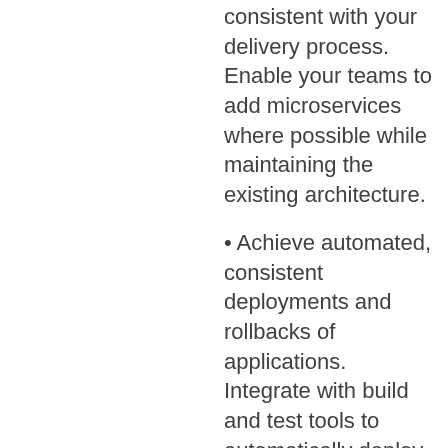consistent with your delivery process. Enable your teams to add microservices where possible while maintaining the existing architecture.
• Achieve automated, consistent deployments and rollbacks of applications. Integrate with build and test tools to automatically deploy, test, and promote new builds.
• Easily identify the who, what, when, where, and how of